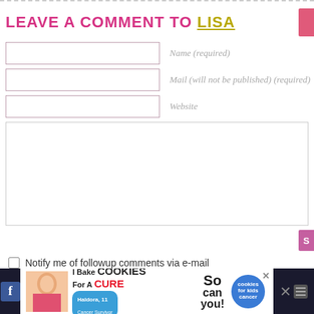LEAVE A COMMENT TO LISA
Name (required)
Mail (will not be published) (required)
Website
Notify me of followup comments via e-mail
[Figure (screenshot): Cookie fundraiser advertisement banner: 'I Bake COOKIES For A CURE' with image of a girl, Haldora 11 Cancer Survivor, So can you! cookies for kids cancer logo]